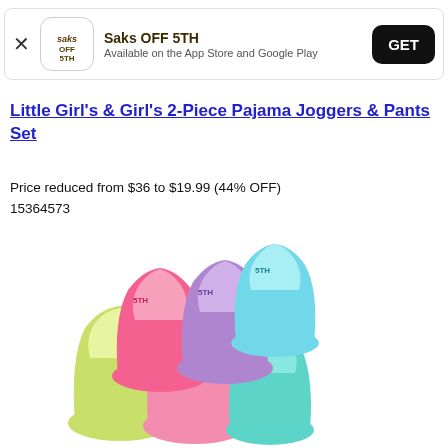Saks OFF 5TH — Available on the App Store and Google Play — GET
Little Girl's & Girl's 2-Piece Pajama Joggers & Pants Set
Price reduced from $36 to $19.99 (44% OFF)
15364573
[Figure (photo): Colorful assorted ankle socks in pink, purple, teal, yellow-green, and pastel colors arranged in a group]